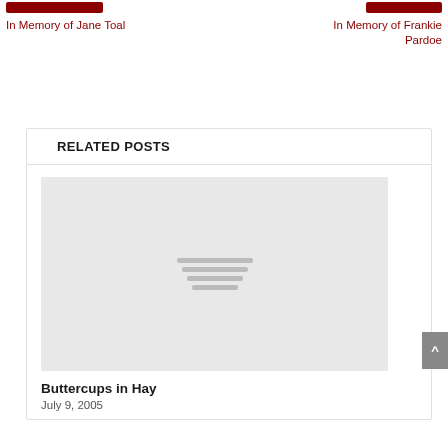In Memory of Jane Toal
In Memory of Frankie Pardoe
RELATED POSTS
[Figure (illustration): Placeholder image box with three horizontal lines in the center, light gray background]
Buttercups in Hay
July 9, 2005